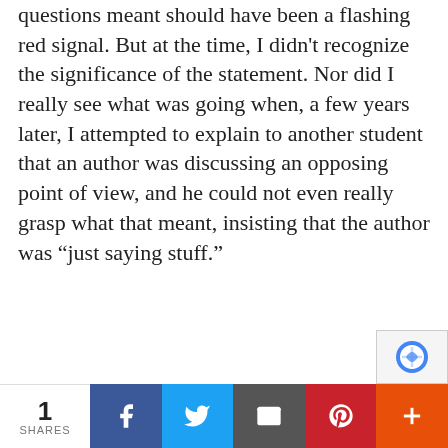questions meant should have been a flashing red signal. But at the time, I didn't recognize the significance of the statement. Nor did I really see what was going when, a few years later, I attempted to explain to another student that an author was discussing an opposing point of view, and he could not even really grasp what that meant, insisting that the author was “just saying stuff.”
In fact, I didn’t put two and two together until recently, when I came across an Atlantic article about New Dorp high
1 SHARES | Facebook | Twitter | Email | Pinterest | More